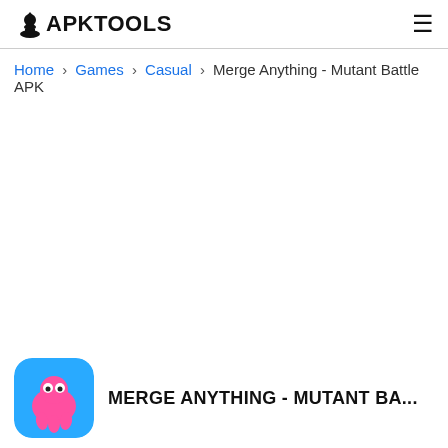APKTOOLS
Home › Games › Casual › Merge Anything - Mutant Battle APK
[Figure (screenshot): White empty content area (advertisement placeholder)]
[Figure (illustration): App icon for Merge Anything - Mutant Battle: blue rounded square with pink mutant/ghost characters]
MERGE ANYTHING - MUTANT BA...